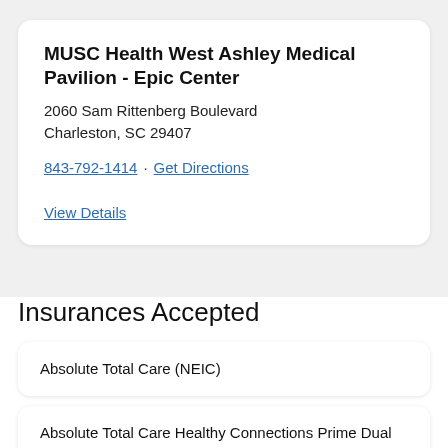MUSC Health West Ashley Medical Pavilion - Epic Center
2060 Sam Rittenberg Boulevard
Charleston, SC 29407
843-792-1414 · Get Directions
View Details
Insurances Accepted
Absolute Total Care (NEIC)
Absolute Total Care Healthy Connections Prime Dual